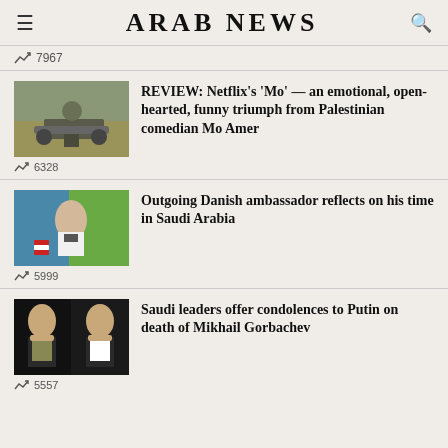ARAB NEWS
7967
[Figure (photo): A person standing near a vintage car in an open field]
REVIEW: Netflix&#039;s 'Mo' — an emotional, open-hearted, funny triumph from Palestinian comedian Mo Amer
6328
[Figure (photo): An older man in a suit seated in front of colorful flags]
Outgoing Danish ambassador reflects on his time in Saudi Arabia
5999
[Figure (photo): Two Saudi leaders in traditional dress side by side]
Saudi leaders offer condolences to Putin on death of Mikhail Gorbachev
5557